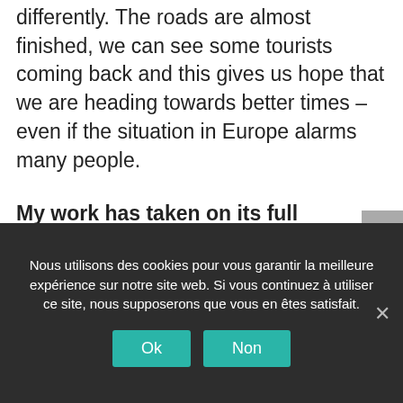differently. The roads are almost finished, we can see some tourists coming back and this gives us hope that we are heading towards better times – even if the situation in Europe alarms many people.
My work has taken on its full dimension by being here. I know why and for whom I am involved, I see the results of our actions and I observe the progress we are making. I have exchanged with the team. I have
Nous utilisons des cookies pour vous garantir la meilleure expérience sur notre site web. Si vous continuez à utiliser ce site, nous supposerons que vous en êtes satisfait.